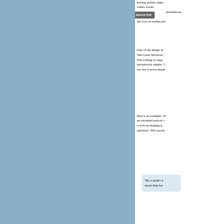having perfect ingre... where we... pretentious, intoleran... the love in traditional...
One of the things th... The Great Midwest'... The writing is enga... deceptively simple. I... cry but it never made...
Here's an example. W... an extended period o... cod from making b... opinions.' His reactio...
'He couldn't h... made him fee...
I recommend the au...